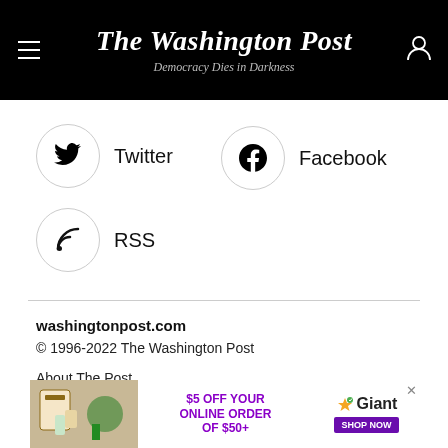The Washington Post — Democracy Dies in Darkness
Twitter
Facebook
RSS
washingtonpost.com
© 1996-2022 The Washington Post
About The Post
Contact the Newsroom
[Figure (other): Giant grocery advertisement: $5 OFF YOUR ONLINE ORDER OF $50+ SHOP NOW]